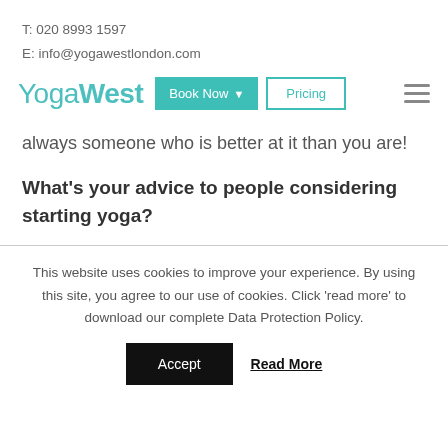T: 020 8993 1597
E: info@yogawestlondon.com
[Figure (logo): YogaWest logo with Book Now and Pricing navigation buttons and hamburger menu icon]
always someone who is better at it than you are!
What's your advice to people considering starting yoga?
This website uses cookies to improve your experience. By using this site, you agree to our use of cookies. Click 'read more' to download our complete Data Protection Policy.
Accept   Read More